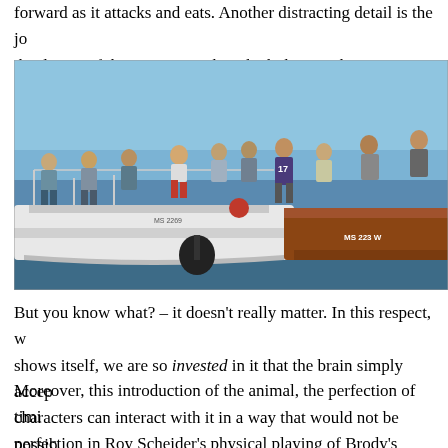forward as it attacks and eats. Another distracting detail is the jo the design of the pneumatics by which the mouth was operated.
[Figure (photo): Behind-the-scenes photo on water showing film crew and actors on multiple boats — a white boat labeled 'MS 2269' and a wooden boat labeled 'MS 223 W'. Crew members stand on boats; one person in red shorts is climbing between boats. Blue sky and open water in background.]
But you know what? – it doesn't really matter. In this respect, w shows itself, we are so invested in it that the brain simply accep characters can interact with it in a way that would not be possib
Moreover, this introduction of the animal, the perfection of timi perfection in Roy Scheider's physical playing of Brody's respon